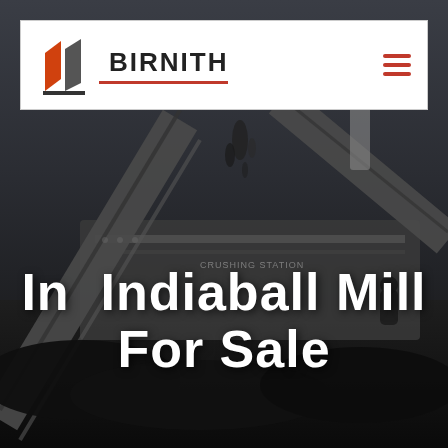[Figure (photo): Dark industrial background photo showing a crushing station machine with conveyor belts and coal/ore aggregate piles; workers visible in background]
BIRNITH
In Indiaball Mill For Sale